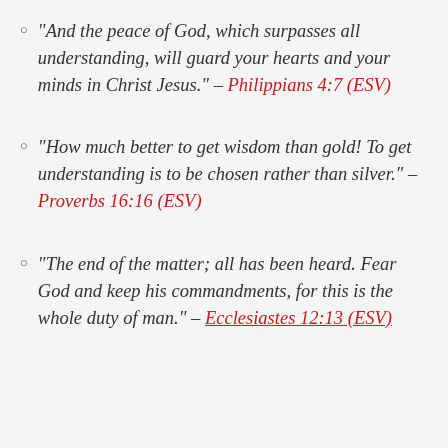“And the peace of God, which surpasses all understanding, will guard your hearts and your minds in Christ Jesus.” – Philippians 4:7 (ESV)
“How much better to get wisdom than gold! To get understanding is to be chosen rather than silver.” – Proverbs 16:16 (ESV)
“The end of the matter; all has been heard. Fear God and keep his commandments, for this is the whole duty of man.” – Ecclesiastes 12:13 (ESV)